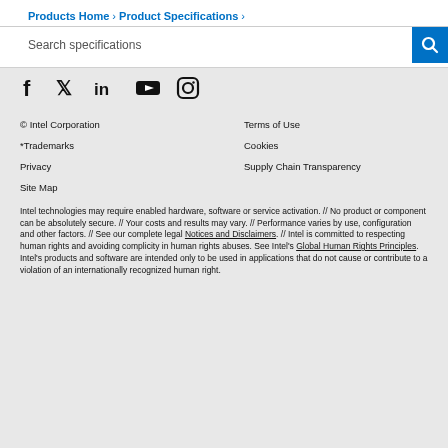Products Home › Product Specifications ›
Search specifications
[Figure (infographic): Social media icons: Facebook, Twitter, LinkedIn, YouTube, Instagram]
© Intel Corporation
Terms of Use
*Trademarks
Cookies
Privacy
Supply Chain Transparency
Site Map
Intel technologies may require enabled hardware, software or service activation. // No product or component can be absolutely secure. // Your costs and results may vary. // Performance varies by use, configuration and other factors. // See our complete legal Notices and Disclaimers. // Intel is committed to respecting human rights and avoiding complicity in human rights abuses. See Intel's Global Human Rights Principles. Intel's products and software are intended only to be used in applications that do not cause or contribute to a violation of an internationally recognized human right.